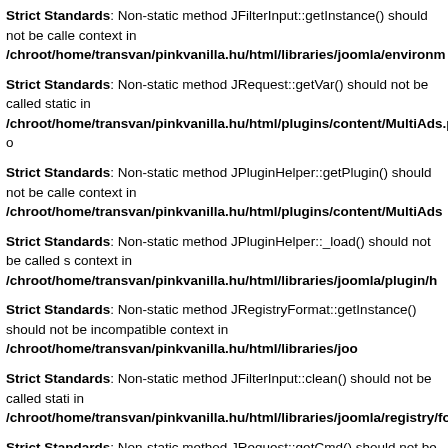Strict Standards: Non-static method JFilterInput::getInstance() should not be called context in /chroot/home/transvan/pinkvanilla.hu/html/libraries/joomla/environm
Strict Standards: Non-static method JRequest::getVar() should not be called static in /chroot/home/transvan/pinkvanilla.hu/html/plugins/content/MultiAds.php o
Strict Standards: Non-static method JPluginHelper::getPlugin() should not be called context in /chroot/home/transvan/pinkvanilla.hu/html/plugins/content/MultiAds
Strict Standards: Non-static method JPluginHelper::_load() should not be called s context in /chroot/home/transvan/pinkvanilla.hu/html/libraries/joomla/plugin/h
Strict Standards: Non-static method JRegistryFormat::getInstance() should not be incompatible context in /chroot/home/transvan/pinkvanilla.hu/html/libraries/joo
Strict Standards: Non-static method JFilterInput::clean() should not be called stati in /chroot/home/transvan/pinkvanilla.hu/html/libraries/joomla/registry/format.
Strict Standards: Non-static method JRequest::getCmd() should not be called sta in /chroot/home/transvan/pinkvanilla.hu/html/plugins/content/jp_bookmark.ph
Strict Standards: Non-static method JRequest::getVar() should not be called statio in /chroot/home/transvan/pinkvanilla.hu/html/libraries/joomla/environment/re
Strict Standards: Non-static method JRequest::_cleanVar() should not be called s context in /chroot/home/transvan/pinkvanilla.hu/html/libraries/joomla/environm
Strict Standards: Non-static method JFilterInput::getInstance() should not be calle